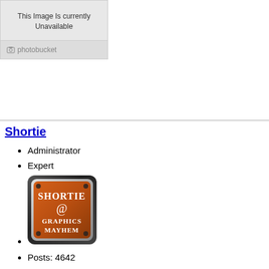[Figure (screenshot): Photobucket image unavailable placeholder with text 'This Image Is currently Unavailable' and photobucket logo below]
Shortie
Administrator
Expert
[Figure (logo): Orange square badge with rounded corners and silver border reading 'SHORTIE @ GRAPHICS MAYHEM']
Posts: 4642
The Ultimate Boss
OS:
Windows 7
Browser:
Firefox 3.6